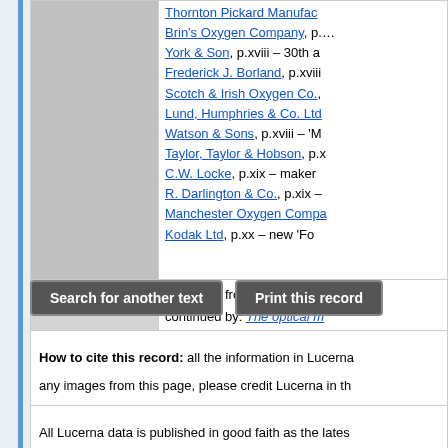|  | Thornton Pickard Manufac…
Brin's Oxygen Company, p.…
York & Son, p.xviii – 30th a…
Frederick J. Borland, p.xviii
Scotch & Irish Oxygen Co.,…
Lund, Humphries & Co. Ltd…
Watson & Sons, p.xviii – 'M…
Taylor, Taylor & Hobson, p.…
C.W. Locke, p.xix – maker…
R. Darlington & Co., p.xix –
Manchester Oxygen Compa…
Kodak Ltd, p.xx – new 'Fo… |
| Related texts | continued from: The optical…
continued by: The optical m…
issue of: The optical magic… |
| Lucerna ID 4005729 | Record created by Richard… |
Search for another text
Print this record
How to cite this record: all the information in Lucerna… any images from this page, please credit Lucerna in th… Lucerna Magic Lantern Web Resource, lucerna.ex…
All Lucerna data is published in good faith as the lates… you can correct or add to our information, or supply an…